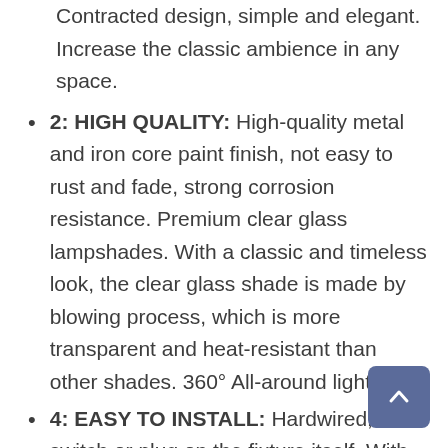Contracted design, simple and elegant. Increase the classic ambience in any space.
2: HIGH QUALITY: High-quality metal and iron core paint finish, not easy to rust and fade, strong corrosion resistance. Premium clear glass lampshades. With a classic and timeless look, the clear glass shade is made by blowing process, which is more transparent and heat-resistant than other shades. 360° All-around lighting.
4: EASY TO INSTALL: Hardwired, no switch or plug on the fixture itself. With USA standard Installation back plate. Easy to mounted it on the electric box. Just connect to the reserved wire directly. UL listed for safety.
1: LIGHT SOURCE: E26 US Standard Socket. Max